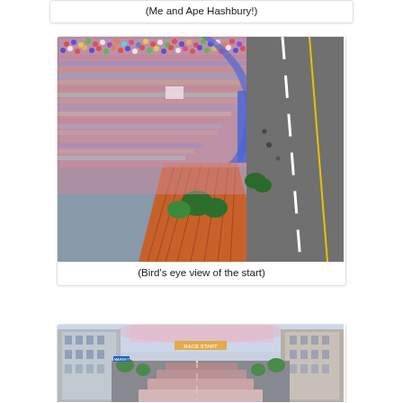(Me and Ape Hashbury!)
[Figure (photo): Aerial bird's eye view of a massive crowd of runners at the start of a race, with an orange/terracotta rooftop visible in the foreground and a road with lane markings visible to the right. The crowd fills most of the frame.]
(Bird's eye view of the start)
[Figure (photo): Street-level view of a long city boulevard filled with runners stretching into the distance, flanked by tall buildings on both sides.]